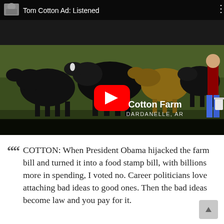[Figure (screenshot): YouTube video thumbnail showing Tom Cotton campaign ad titled 'Tom Cotton Ad: Listened'. Scene depicts cattle on a farm with a person feeding them. Location text reads 'Cotton Farm / DARDANELLE, AR'. Red YouTube play button visible in center.]
COTTON: When President Obama hijacked the farm bill and turned it into a food stamp bill, with billions more in spending, I voted no. Career politicians love attaching bad ideas to good ones. Then the bad ideas become law and you pay for it.